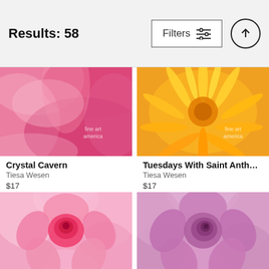Results: 58    Filters    ↑
[Figure (photo): Close-up macro photo of pink flower petals (Crystal Cavern) with Fine Art America watermark]
Crystal Cavern
Tiesa Wesen
$17
[Figure (photo): Close-up macro photo of orange/yellow chrysanthemum (Tuesdays With Saint Anthony-...) with Fine Art America watermark]
Tuesdays With Saint Anthony-...
Tiesa Wesen
$17
[Figure (photo): Close-up macro photo of a pink rose showing spiral petal arrangement]
[Figure (photo): Close-up macro photo of a lavender/purple rose showing spiral petal arrangement]